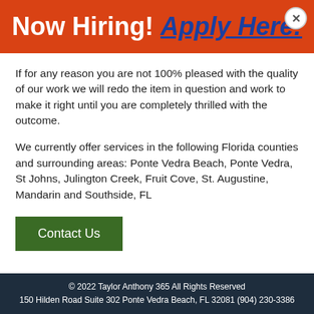Now Hiring! Apply Here!
If for any reason you are not 100% pleased with the quality of our work we will redo the item in question and work to make it right until you are completely thrilled with the outcome.
We currently offer services in the following Florida counties and surrounding areas: Ponte Vedra Beach, Ponte Vedra, St Johns, Julington Creek, Fruit Cove, St. Augustine, Mandarin and Southside, FL
Contact Us
© 2022 Taylor Anthony 365 All Rights Reserved
150 Hilden Road Suite 302 Ponte Vedra Beach, FL 32081 (904) 230-3386